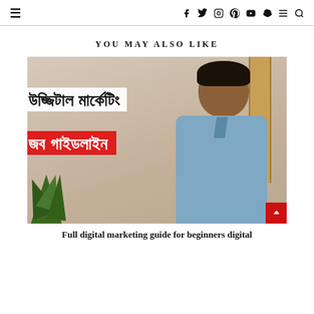Navigation header with hamburger menu and social icons: facebook, twitter, instagram, pinterest, youtube, snapchat, menu, search
YOU MAY ALSO LIKE
[Figure (photo): A man in a denim shirt sitting in front of a beige wall with a wooden cabinet/door. Bengali text overlay: white box with 'উজ্জিটাল মার্কেটিং' and red box with 'জব গাইডলাইন'. Green plant visible in lower left corner.]
Full digital marketing guide for beginners digital